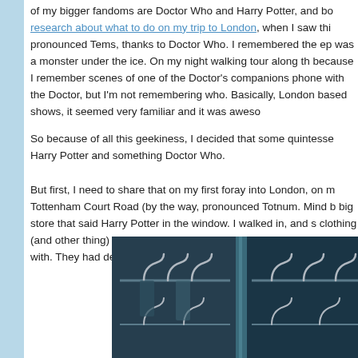of my bigger fandoms are Doctor Who and Harry Potter, and bo research about what to do on my trip to London, when I saw thi pronounced Tems, thanks to Doctor Who. I remembered the ep was a monster under the ice. On my night walking tour along th because I remember scenes of one of the Doctor's companions phone with the Doctor, but I'm not remembering who. Basically, London based shows, it seemed very familiar and it was aweso
So because of all this geekiness, I decided that some quintesse Harry Potter and something Doctor Who.
But first, I need to share that on my first foray into London, on m Tottenham Court Road (by the way, pronounced Totnum. Mind b big store that said Harry Potter in the window. I walked in, and s clothing (and other thing) store I'd heard so much about, with a sign to pose with. They had decor of owl cages and school trun
[Figure (photo): Interior photo of a Harry Potter merchandise store showing hooks/hangers on a dark teal/navy wall with metal shelving]